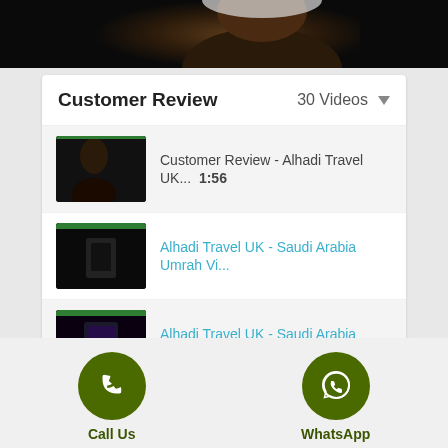[Figure (screenshot): Top portion of a video showing a person's face/head in dark tones]
Customer Review  30 Videos ▼
Customer Review - Alhadi Travel UK...  1:56
Alhadi Travel UK - Saudi Arabia Umrah Vi...
Alhadi Travel UK - Saudi Arabia Umrah Vi...
Alhadi Travel UK - Saudi Arabia Umrah Vi...
[Figure (screenshot): Partial thumbnail visible at bottom of list]
Call Us
WhatsApp